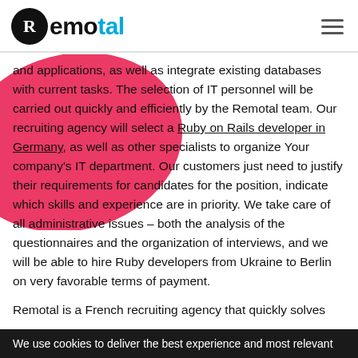[Figure (logo): Remotal logo: black circle with white R, followed by 'emotal' text where 'tal' is in blue]
and applications, as well as integrate existing databases with current tasks. The selection of IT personnel will be carried out quickly and efficiently by the Remotal team. Our recruiting agency will select a Ruby on Rails developer in Germany, as well as other specialists to organize Your company's IT department. Our customers just need to justify their requirements for candidates for the position, indicate which skills and experience are in priority. We take care of all administrative issues – both the analysis of the questionnaires and the organization of interviews, and we will be able to hire Ruby developers from Ukraine to Berlin on very favorable terms of payment.
Remotal is a French recruiting agency that quickly solves
We use cookies to deliver the best experience and most relevant